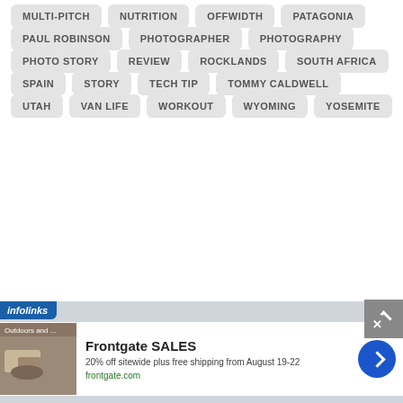MULTI-PITCH
NUTRITION
OFFWIDTH
PATAGONIA
PAUL ROBINSON
PHOTOGRAPHER
PHOTOGRAPHY
PHOTO STORY
REVIEW
ROCKLANDS
SOUTH AFRICA
SPAIN
STORY
TECH TIP
TOMMY CALDWELL
UTAH
VAN LIFE
WORKOUT
WYOMING
YOSEMITE
[Figure (screenshot): Frontgate SALES advertisement: 20% off sitewide plus free shipping from August 19-22, frontgate.com, with outdoor furniture image and navigation arrow]